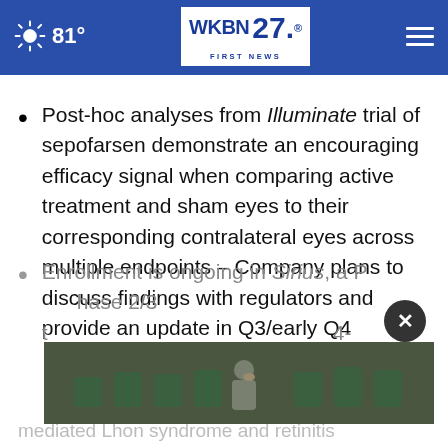81° WKBN 27 FIRST NEWS
Post-hoc analyses from Illuminate trial of sepofarsen demonstrate an encouraging efficacy signal when comparing active treatment and sham eyes to their corresponding contralateral eyes across multiple endpoints – Company plans to discuss findings with regulators and provide an update in Q3/early Q4
Enrollment is ongoing in Sirius, a Phase 2/3 t... 4-mediated Lhon syndrome and retiniti...